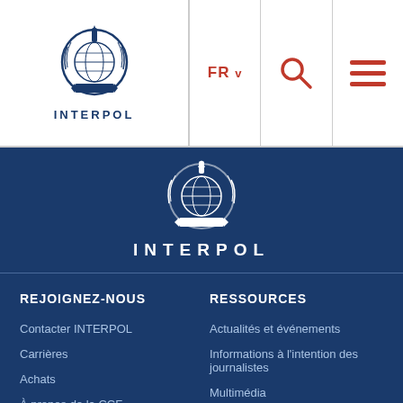[Figure (logo): INTERPOL logo with crest in header (dark blue on white)]
FR v
[Figure (other): Search icon (orange magnifying glass)]
[Figure (other): Menu icon (orange hamburger/three lines)]
[Figure (logo): INTERPOL emblem (white crest on dark blue banner) with text INTERPOL]
REJOIGNEZ-NOUS
RESSOURCES
Contacter INTERPOL
Actualités et événements
Carrières
Informations à l'intention des journalistes
Achats
Multimédia
À propos de la CCF
Documents